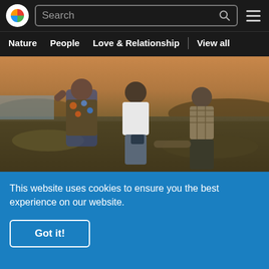[Figure (screenshot): Shutterstock website header with logo, search bar, and hamburger menu on dark background]
Nature   People   Love & Relationship   |   View all
[Figure (photo): Three people standing outdoors on a hillside, viewed from behind, holding hands in a scenic landscape at dusk]
Related Shutterstock Videos
This website uses cookies to ensure you the best experience on our website.
Got it!